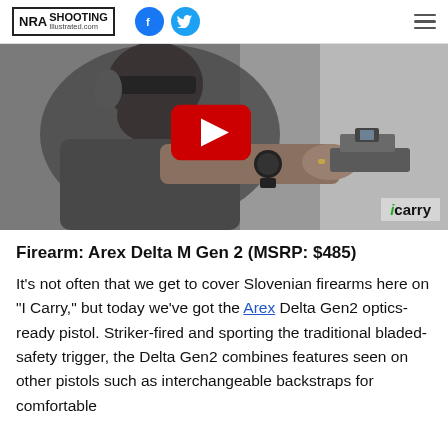NRA Shooting Illustrated.com
[Figure (photo): Video thumbnail showing a bearded man wearing safety glasses and ear protection aiming a handgun with an optic sight. A YouTube play button overlay is visible in the center. An 'icarry' badge appears in the bottom right corner.]
Firearm: Arex Delta M Gen 2 (MSRP: $485)
It's not often that we get to cover Slovenian firearms here on "I Carry," but today we've got the Arex Delta Gen2 optics-ready pistol. Striker-fired and sporting the traditional bladed-safety trigger, the Delta Gen2 combines features seen on other pistols such as interchangeable backstraps for comfortable...